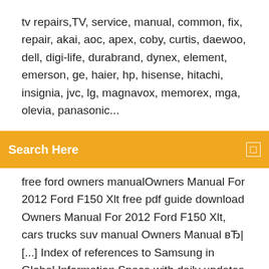tv repairs,TV, service, manual, common, fix, repair, akai, aoc, apex, coby, curtis, daewoo, dell, digi-life, durabrand, dynex, element, emerson, ge, haier, hp, hisense, hitachi, insignia, jvc, lg, magnavox, memorex, mga, olevia, panasonic...
[Figure (screenshot): Orange search bar with 'Search Here' text and a small square icon on the right]
free ford owners manualOwners Manual For 2012 Ford F150 Xlt free pdf guide download Owners Manual For 2012 Ford F150 Xlt, cars trucks suv manual Owners Manual вЂ| [...] Index of references to Samsung in Global Information Space with daily updates Philips 14PT3336 Liga despeja el LED y no tiene una imagen acoplador de la foto cambiar foto Philips 21PT5433 Es único sonido en la AV Epron desprogramado – no adantou progrramar Cambio de Epron Philips 20PT3336 por lo encenderá cuando es... My TV is a . Get shopping advice from experts, friends and the community! i have a Model #42PFL3704D/F7